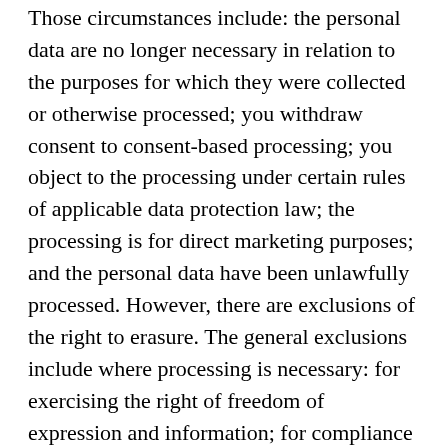Those circumstances include: the personal data are no longer necessary in relation to the purposes for which they were collected or otherwise processed; you withdraw consent to consent-based processing; you object to the processing under certain rules of applicable data protection law; the processing is for direct marketing purposes; and the personal data have been unlawfully processed. However, there are exclusions of the right to erasure. The general exclusions include where processing is necessary: for exercising the right of freedom of expression and information; for compliance with a legal obligation; or for the establishment, exercise or defence of legal claims.
In some circumstances you have the right to